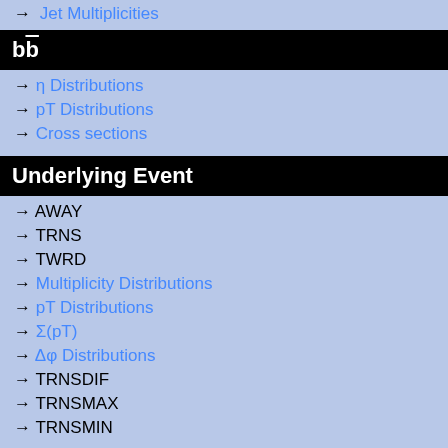→ Jet Multiplicities
bb̄
→ η Distributions
→ pT Distributions
→ Cross sections
Underlying Event
→ AWAY
→ TRNS
→ TWRD
→ Multiplicity Distributions
→ pT Distributions
→ Σ(pT)
→ Δφ Distributions
→ TRNSDIF
→ TRNSMAX
→ TRNSMIN
Soft QCD (inelastic)
→ <pT> vs Nch
[Figure (continuous-plot): Partial view of a ratio plot showing two data series (blue filled triangles and green open squares) plotted against an x-axis from 0 to ~2.5+. The y-axis is labeled 'Ratio to D' and shows values from about 0.5 to above 1. A yellow band is shown around ratio=1. The blue series stays near 1 then dips to ~0.82 at x~1.5. The green series drops from ~0.73 at x~0.5 to ~0.45 at x~1.5, then recovers toward 1 at higher x.]